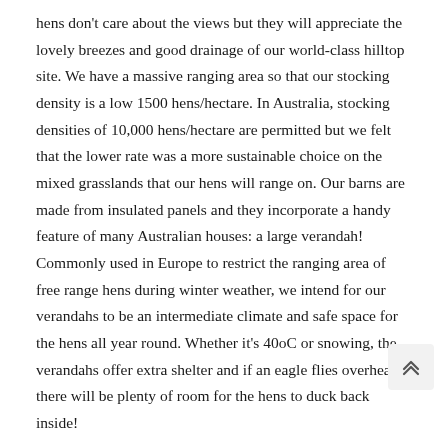hens don't care about the views but they will appreciate the lovely breezes and good drainage of our world-class hilltop site. We have a massive ranging area so that our stocking density is a low 1500 hens/hectare. In Australia, stocking densities of 10,000 hens/hectare are permitted but we felt that the lower rate was a more sustainable choice on the mixed grasslands that our hens will range on. Our barns are made from insulated panels and they incorporate a handy feature of many Australian houses: a large verandah! Commonly used in Europe to restrict the ranging area of free range hens during winter weather, we intend for our verandahs to be an intermediate climate and safe space for the hens all year round. Whether it's 40oC or snowing, the verandahs offer extra shelter and if an eagle flies overhead, there will be plenty of room for the hens to duck back inside!